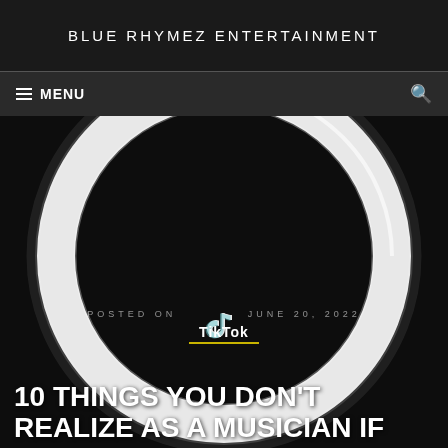BLUE RHYMEZ ENTERTAINMENT
≡ MENU
[Figure (photo): TikTok ring light photo — a large white circular ring light against a dark/black background with TikTok logo visible in the center. Text overlay reads 'POSTED ON JUNE 20, 2022' and TikTok logo with yellow underline.]
POSTED ON JUNE 20, 2022
10 THINGS YOU DON'T REALIZE AS A MUSICIAN IF